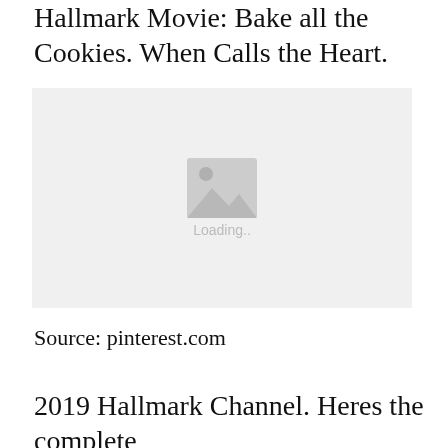Hallmark Movie: Bake all the Cookies. When Calls the Heart.
[Figure (photo): Image placeholder with loading state, light gray background with a mountain/image icon and 'Loading..' text]
Source: pinterest.com
2019 Hallmark Channel. Heres the complete